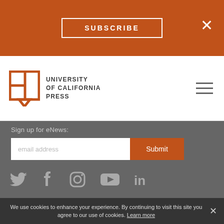SUBSCRIBE
[Figure (logo): University of California Press logo with open book icon and text: UNIVERSITY of CALIFORNIA PRESS]
Sign up for eNews:
email address  Submit
[Figure (infographic): Social media icons: Twitter, Facebook, Instagram, YouTube, LinkedIn]
VISIT THE UC PRESS BLOG
DISCIPLINES
Ancient World
Anthropology
COURSES
Browse All Courses
We use cookies to enhance your experience. By continuing to visit this site you agree to our use of cookies. Learn more